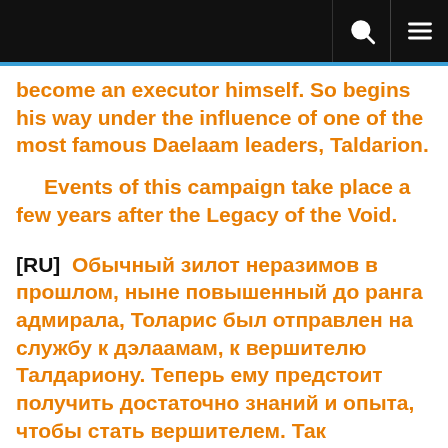become an executor himself. So begins his way under the influence of one of the most famous Daelaam leaders, Taldarion.

  Events of this campaign take place a few years after the Legacy of the Void.
[RU]  Обычный зилот неразимов в прошлом, ныне повышенный до ранга адмирала, Толарис был отправлен на службу к дэлаамам, к вершителю Талдариону. Теперь ему предстоит получить достаточно знаний и опыта, чтобы стать вершителем. Так начинается его путь под покровительством одного из самых известных вершителей